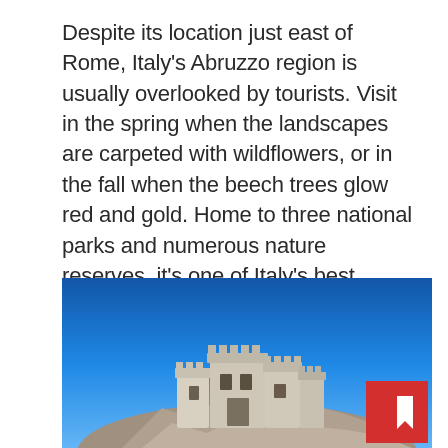Despite its location just east of Rome, Italy's Abruzzo region is usually overlooked by tourists. Visit in the spring when the landscapes are carpeted with wildflowers, or in the fall when the beech trees glow red and gold. Home to three national parks and numerous nature reserves, it's one of Italy's best places for natural beauty, but while there aren't any spectacular big towns in Tuscany, it's certainly the place to go for crowd-free medieval towns and mountains dotted with castles and fortresses.
[Figure (photo): Photo of a ruined medieval castle with round towers against a bright blue sky, sitting atop rocky terrain. A red button with a bookmark/arrow icon appears in the bottom right corner of the image.]